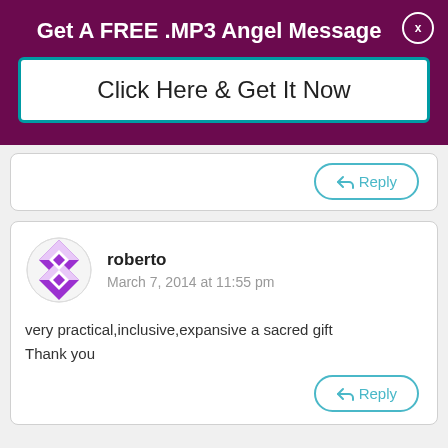Get A FREE .MP3 Angel Message
Click Here & Get It Now
[Figure (screenshot): Reply button (top comment card)]
[Figure (illustration): Avatar icon for user roberto — purple and white diamond/checker pattern]
roberto
March 7, 2014 at 11:55 pm
very practical,inclusive,expansive a sacred gift
Thank you
[Figure (screenshot): Reply button (roberto comment card)]